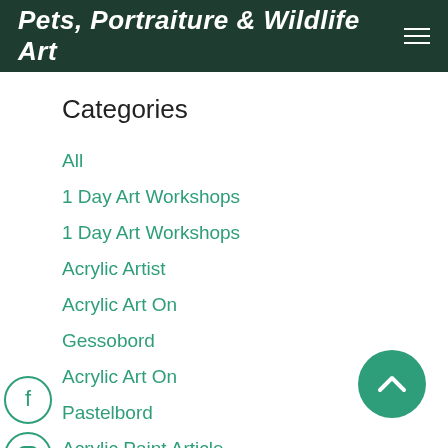Pets, Portraiture & Wildlife Art
Categories
All
1 Day Art Workshops
1 Day Art Workshops
Acrylic Artist
Acrylic Art On
Gessobord
Acrylic Art On
Pastelbord
Acrylic Paint Article
Acrylic Paints
Acrylic Pet Artist
[Figure (illustration): Social media icons (Facebook, Instagram, Twitter, Email, Pinterest) in circles on left edge; back-to-top chevron button in green circle on bottom right]